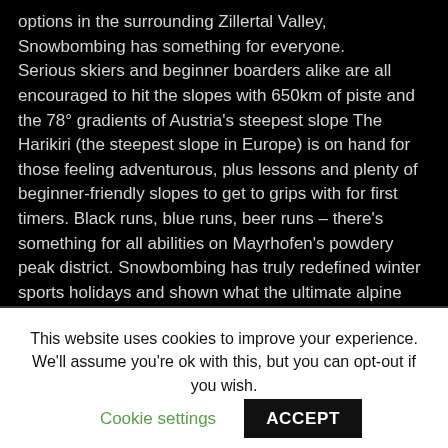options in the surrounding Zillertal Valley, Snowbombing has something for everyone. Serious skiers and beginner boarders alike are all encouraged to hit the slopes with 650km of piste and the 78° gradients of Austria's steepest slope The Harikiri (the steepest slope in Europe) is on hand for those feeling adventurous, plus lessons and plenty of beginner-friendly slopes to get to grips with for first timers. Black runs, blue runs, beer runs – there's something for all abilities on Mayrhofen's powdery peak district. Snowbombing has truly redefined winter sports holidays and shown what the ultimate alpine music festival looks and sounds like.
This website uses cookies to improve your experience. We'll assume you're ok with this, but you can opt-out if you wish.
Cookie settings
ACCEPT